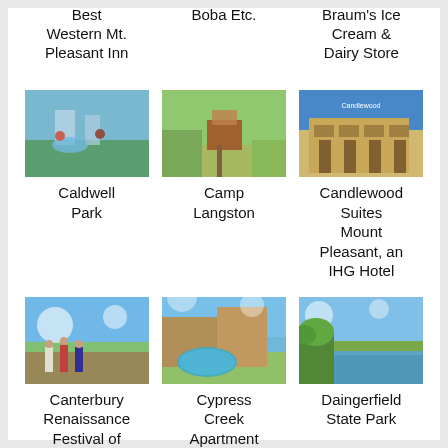Best Western Mt. Pleasant Inn
Boba Etc.
Braum's Ice Cream & Dairy Store
[Figure (photo): Caldwell Park outdoor water feature with children playing]
Caldwell Park
[Figure (photo): Camp Langston entrance with greenery and structure]
Camp Langston
[Figure (photo): Candlewood Suites Mount Pleasant hotel exterior]
Candlewood Suites Mount Pleasant, an IHG Hotel
[Figure (photo): Canterbury Renaissance Festival with people in period costumes]
Canterbury Renaissance Festival of North East Texas
[Figure (photo): Cypress Creek Apartment Homes pool area]
Cypress Creek Apartment Homes
[Figure (photo): Daingerfield State Park lake with trees]
Daingerfield State Park